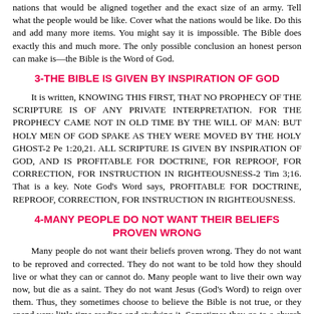nations that would be aligned together and the exact size of an army. Tell what the people would be like. Cover what the nations would be like. Do this and add many more items. You might say it is impossible. The Bible does exactly this and much more. The only possible conclusion an honest person can make is—the Bible is the Word of God.
3-THE BIBLE IS GIVEN BY INSPIRATION OF GOD
It is written, KNOWING THIS FIRST, THAT NO PROPHECY OF THE SCRIPTURE IS OF ANY PRIVATE INTERPRETATION. FOR THE PROPHECY CAME NOT IN OLD TIME BY THE WILL OF MAN: BUT HOLY MEN OF GOD SPAKE AS THEY WERE MOVED BY THE HOLY GHOST-2 Pe 1:20,21. ALL SCRIPTURE IS GIVEN BY INSPIRATION OF GOD, AND IS PROFITABLE FOR DOCTRINE, FOR REPROOF, FOR CORRECTION, FOR INSTRUCTION IN RIGHTEOUSNESS-2 Tim 3;16. That is a key. Note God's Word says, PROFITABLE FOR DOCTRINE, REPROOF, CORRECTION, FOR INSTRUCTION IN RIGHTEOUSNESS.
4-MANY PEOPLE DO NOT WANT THEIR BELIEFS PROVEN WRONG
Many people do not want their beliefs proven wrong. They do not want to be reproved and corrected. They do not want to be told how they should live or what they can or cannot do. Many people want to live their own way now, but die as a saint. They do not want Jesus (God's Word) to reign over them. Thus, they sometimes choose to believe the Bible is not true, or they spend very little time reading and studying it. Sometimes they go to a church that preaches what they want to hear rather than what they need to hear. They choose deceit rather than